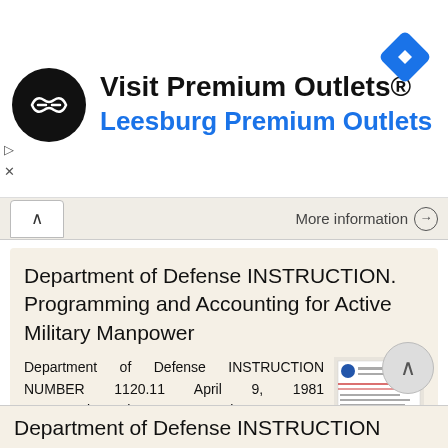[Figure (other): Advertisement banner for Visit Premium Outlets® / Leesburg Premium Outlets with black circular logo and blue navigation diamond icon]
More information →
Department of Defense INSTRUCTION. Programming and Accounting for Active Military Manpower
Department of Defense INSTRUCTION NUMBER 1120.11 April 9, 1981 Incorporating Change 1, October 30, 2007 ASD(MRA&L) USD(P&R) SUBJECT: Programming and Accounting for Active Military Manpower References:
More information →
Department of Defense INSTRUCTION